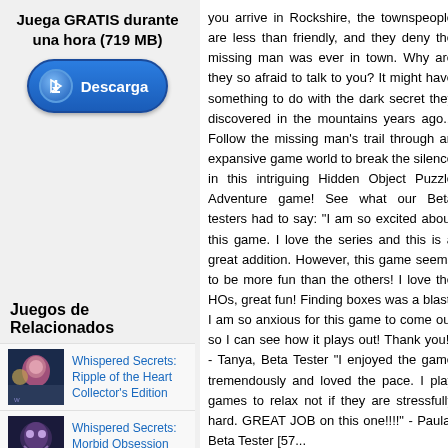Juega GRATIS durante una hora (719 MB)
[Figure (other): Blue download button with arrow icon labeled 'Descarga']
Juegos de Relacionados
[Figure (other): Game thumbnail for Whispered Secrets: Ripple of the Heart Collector's Edition]
Whispered Secrets: Ripple of the Heart Collector's Edition
[Figure (other): Game thumbnail for Whispered Secrets: Morbid Obsession Collector's Edition]
Whispered Secrets: Morbid Obsession Collector's Edition
[Figure (other): Game thumbnail for Whispered Secrets: Dreadful Beauty Collector's Edition]
Whispered Secrets: Dreadful Beauty Collector's Edition
you arrive in Rockshire, the townspeople are less than friendly, and they deny the missing man was ever in town. Why are they so afraid to talk to you? It might have something to do with the dark secret they discovered in the mountains years ago... Follow the missing man's trail through an expansive game world to break the silence in this intriguing Hidden Object Puzzle Adventure game! See what our Beta testers had to say: "I am so excited about this game. I love the series and this is a great addition. However, this game seems to be more fun than the others! I love the HOs, great fun! Finding boxes was a blast. I am so anxious for this game to come out so I can see how it plays out! Thank you!" - Tanya, Beta Tester "I enjoyed the game tremendously and loved the pace. I play games to relax not if they are stressfully hard. GREAT JOB on this one!!!!" - Paula, Beta Tester [57...
Whispered Secrets: Golden Silence Collector's Edition: